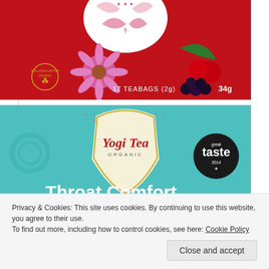[Figure (photo): Red Yogi Tea box with flowers, cherries and berries, labeled '17 TEABAGS (2g) 34g']
[Figure (photo): Teal Yogi Tea Organic 'Throat Comfort' box with 'great taste' award badge and text 'Ayurvedic blend with liquorice']
Privacy & Cookies: This site uses cookies. By continuing to use this website, you agree to their use.
To find out more, including how to control cookies, see here: Cookie Policy